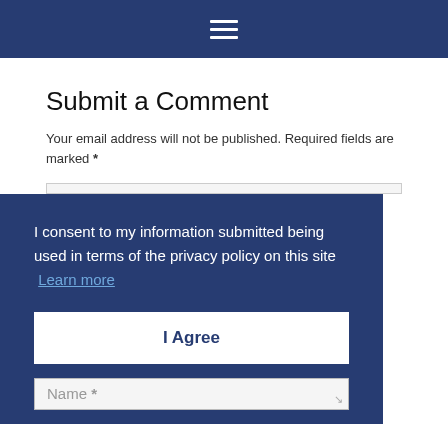≡
Submit a Comment
Your email address will not be published. Required fields are marked *
I consent to my information submitted being used in terms of the privacy policy on this site  Learn more
I Agree
Name *